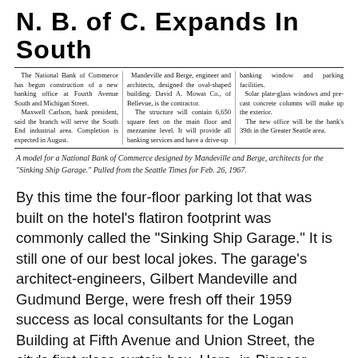N. B. of C. Expands In South
The National Bank of Commerce has begun construction of a new banking office at Fourth Avenue South and Michigan Street. Maxwell Carlson, bank president, said the branch will serve the South End industrial area. Completion is expected in August.
Mandeville and Berge, engineer and architects, designed the oval-shaped building. David A. Mowat Co., of Bellevue, is the contractor. The structure will contain 6,650 square feet on the main floor and mezzanine level. It will provide all banking services and have a drive-up
banking window and parking facilities. Solar plate-glass windows and pre-cast concrete columns will make up the exterior. The new office will be the bank's 39th in the Greater Seattle area.
A model for a National Bank of Commerce designed by Mandeville and Berge, architects for the "Sinking Ship Garage." Pulled from the Seattle Times for Feb. 26, 1967.
By this time the four-floor parking lot that was built on the hotel’s flatiron footprint was commonly called the “Sinking Ship Garage.” It is still one of our best local jokes. The garage’s architect-engineers, Gilbert Mandeville and Gudmund Berge, were fresh off their 1959 success as local consultants for the Logan Building at Fifth Avenue and Union Street, the city’s first glass curtain box. Here, in Pioneer Square, they added what they and its owners considered a compliment to the historic neighborhood: a basket-handle shaped railing made of pipe, a